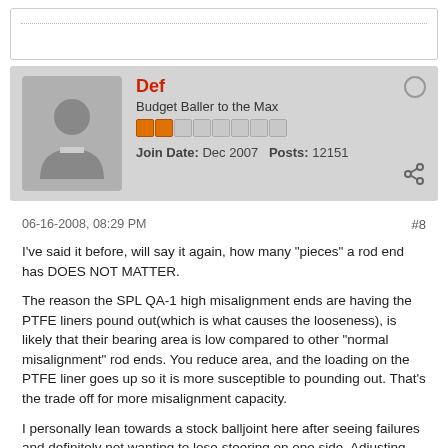Def
Budget Baller to the Max
Join Date: Dec 2007   Posts: 12151
06-16-2008, 08:29 PM
#8
I've said it before, will say it again, how many "pieces" a rod end has DOES NOT MATTER.
The reason the SPL QA-1 high misalignment ends are having the PTFE liners pound out(which is what causes the looseness), is likely that their bearing area is low compared to other "normal misalignment" rod ends. You reduce area, and the loading on the PTFE liner goes up so it is more susceptible to pounding out. That's the trade off for more misalignment capacity.
I personally lean towards a stock balljoint here after seeing failures and definitely not wanting to lose steering on one side. Adjusting bumpsteer is nice though.
'18 Chevrolet Volt - Electric fun hatch for DD duty!
DefSport Koni Sleeve and Spring Perch Buy!!!